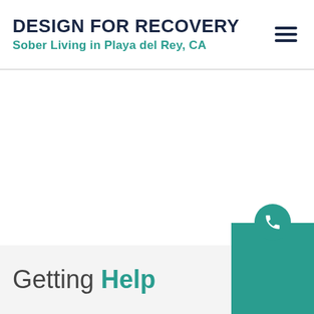DESIGN FOR RECOVERY
Sober Living in Playa del Rey, CA
[Figure (other): Teal phone icon in circle button with teal CTA box in bottom right corner]
Getting Help